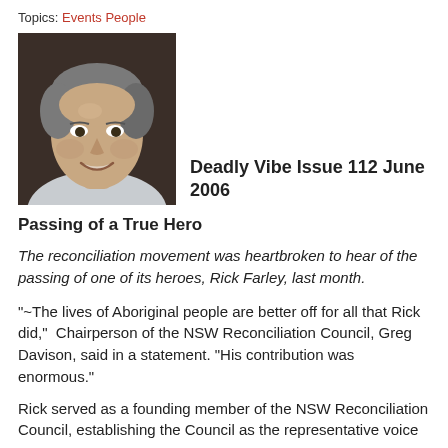Topics: Events People
[Figure (photo): Black and white photograph of a middle-aged man with grey hair, smiling, wearing a light-colored shirt. This is Rick Farley.]
Deadly Vibe Issue 112 June 2006
Passing of a True Hero
The reconciliation movement was heartbroken to hear of the passing of one of its heroes, Rick Farley, last month.
"~The lives of Aboriginal people are better off for all that Rick did,"  Chairperson of the NSW Reconciliation Council, Greg Davison, said in a statement. "His contribution was enormous."
Rick served as a founding member of the NSW Reconciliation Council, establishing the Council as the representative voice